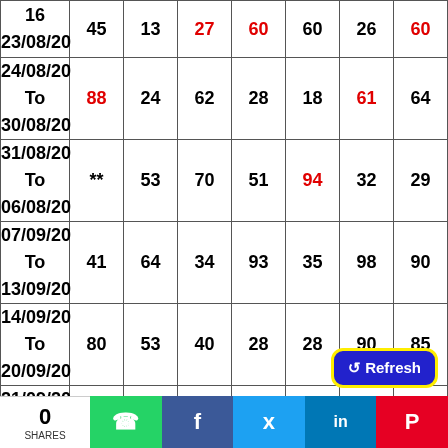| Date | Col1 | Col2 | Col3 | Col4 | Col5 | Col6 | Col7 |
| --- | --- | --- | --- | --- | --- | --- | --- |
| 16
23/08/20 | 45 | 13 | 27 | 60 | 60 | 26 | 60 |
| 24/08/20 To 30/08/20 | 88 | 24 | 62 | 28 | 18 | 61 | 64 |
| 31/08/20 To 06/08/20 | ** | 53 | 70 | 51 | 94 | 32 | 29 |
| 07/09/20 To 13/09/20 | 41 | 64 | 34 | 93 | 35 | 98 | 90 |
| 14/09/20 To 20/09/20 | 80 | 53 | 40 | 28 | 28 | 90 | 85 |
| 21/09/20 To 27/09/20 | 02 | 56 | 52 | 46 | 51 | 32 | 53 |
| 28/09/20 To 04/10/20 | 36 | 21 | ** | 92 | 18 | 92 | 64 |
| 05/10/20 To ... | 73 | 48 | 42 | 88 | 01 | 76 | 86 |
[Figure (screenshot): Blue Refresh button overlay in bottom-right area of table]
[Figure (infographic): Social share bar: 0 SHARES, WhatsApp, Facebook, Twitter, LinkedIn, Pinterest]